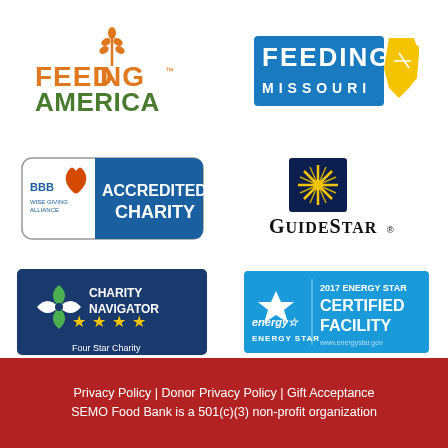[Figure (logo): Feeding America logo with orange wheat stalk icon and green/orange text]
[Figure (logo): Feeding Missouri logo with blue text and yellow Missouri state bird icon]
[Figure (logo): BBB Accredited Charity badge with blue background]
[Figure (logo): GuideStar logo with dark blue star burst and black text]
[Figure (logo): Charity Navigator four star charity badge with blue and green design]
[Figure (logo): 2017 Energy Star Certified Facility badge with blue background]
Privacy Policy | Donor Privacy Policy | Gift Acceptance
SEMO Food Bank is a 501(c)(3) non-profit organization